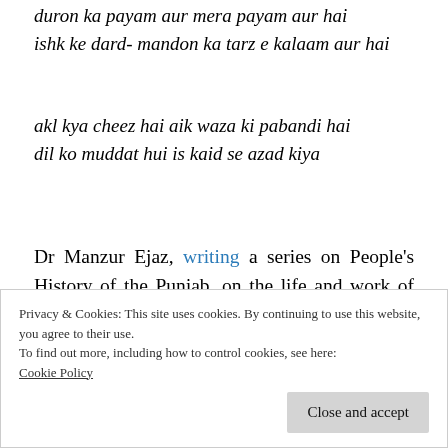duron ka payam aur mera payam aur hai
ishk ke dard- mandon ka tarz e kalaam aur hai
akl kya cheez hai aik waza ki pabandi hai
dil ko muddat hui is kaid se azad kiya
Dr Manzur Ejaz, writing a series on People's History of the Punjab, on the life and work of Shiekh Farid, considered to be the first poet of the Punjabi language.
Continue reading
Privacy & Cookies: This site uses cookies. By continuing to use this website, you agree to their use.
To find out more, including how to control cookies, see here:
Cookie Policy
Close and accept